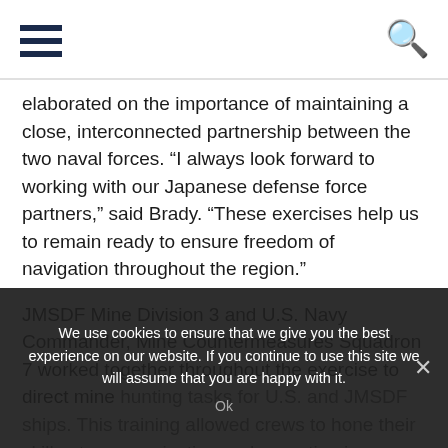[Hamburger menu icon] [Search icon]
elaborated on the importance of maintaining a close, interconnected partnership between the two naval forces. “I always look forward to working with our Japanese defense force partners,” said Brady. “These exercises help us to remain ready to ensure freedom of navigation throughout the region.”
JMSDF Mine Division 3 and U.S. Navy Commander, Mine Countermeasures Squadron 7 worked together throughout the exercise to direct mine hunting tasks for U.S. and JMSDF ships. This training allowed crews to hone their skills at communicating and operating in a combined environment and learn to maximize their cumulative mine hunting capability
We use cookies to ensure that we give you the best experience on our website. If you continue to use this site we will assume that you are happy with it.
Ok